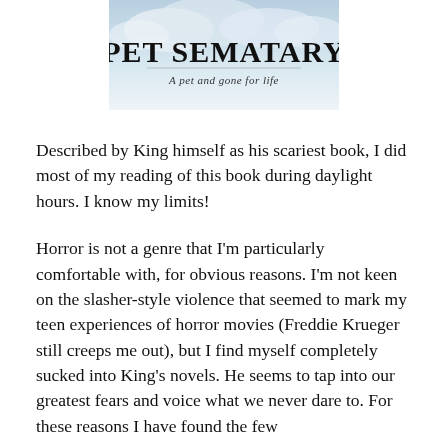[Figure (illustration): Book cover image for 'Pet Sematary' showing the title in large gothic text with a tagline below, set against a sky background]
Described by King himself as his scariest book, I did most of my reading of this book during daylight hours. I know my limits!
Horror is not a genre that I'm particularly comfortable with, for obvious reasons. I'm not keen on the slasher-style violence that seemed to mark my teen experiences of horror movies (Freddie Krueger still creeps me out), but I find myself completely sucked into King's novels. He seems to tap into our greatest fears and voice what we never dare to. For these reasons I have found the few